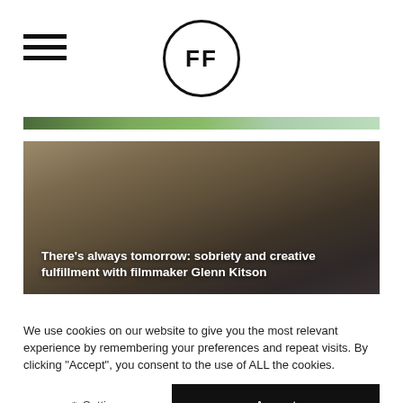FF (logo)
[Figure (photo): Thin green/nature image strip at top of content area]
[Figure (photo): Filmmaker Glenn Kitson seated in a room with an American flag, bulletin board, and bookshelves in the background. Overlay text reads: There's always tomorrow: sobriety and creative fulfillment with filmmaker Glenn Kitson]
We use cookies on our website to give you the most relevant experience by remembering your preferences and repeat visits. By clicking “Accept”, you consent to the use of ALL the cookies.